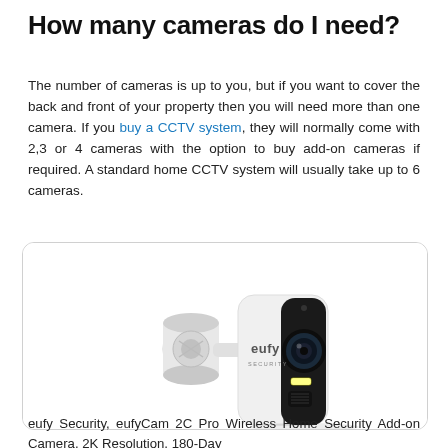How many cameras do I need?
The number of cameras is up to you, but if you want to cover the back and front of your property then you will need more than one camera. If you buy a CCTV system, they will normally come with 2,3 or 4 cameras with the option to buy add-on cameras if required. A standard home CCTV system will usually take up to 6 cameras.
[Figure (photo): eufy Security camera product photo showing a white wireless security camera with a ball-joint wall mount, black lens housing with camera lens and LED light strip, with 'eufy SECURITY' branding visible on the camera body.]
eufy Security, eufyCam 2C Pro Wireless Home Security Add-on Camera, 2K Resolution, 180-Day